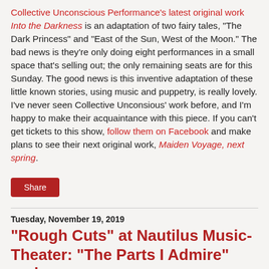Collective Unconscious Performance's latest original work Into the Darkness is an adaptation of two fairy tales, "The Dark Princess" and "East of the Sun, West of the Moon." The bad news is they're only doing eight performances in a small space that's selling out; the only remaining seats are for this Sunday. The good news is this inventive adaptation of these little known stories, using music and puppetry, is really lovely. I've never seen Collective Unconsious' work before, and I'm happy to make their acquaintance with this piece. If you can't get tickets to this show, follow them on Facebook and make plans to see their next original work, Maiden Voyage, next spring.
Share
Tuesday, November 19, 2019
"Rough Cuts" at Nautilus Music-Theater: "The Parts I Admire" and